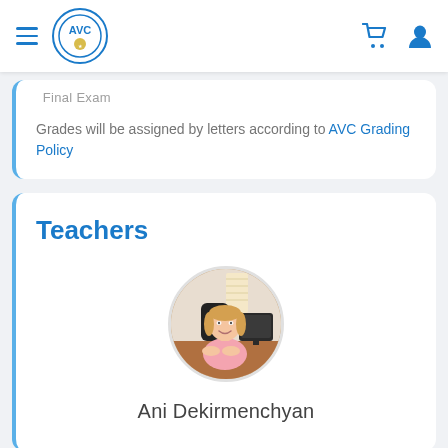AVC navigation bar with hamburger menu, AVC logo, cart icon, and user icon
Grades will be assigned by letters according to AVC Grading Policy
Teachers
[Figure (photo): Circular profile photo of teacher Ani Dekirmenchyan sitting at a desk with a computer]
Ani Dekirmenchyan